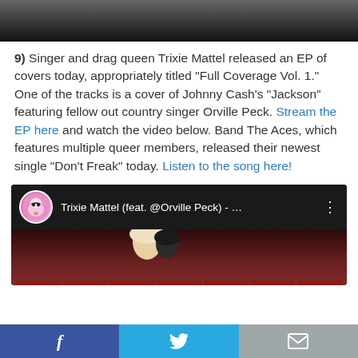[Figure (photo): Top portion of a black and white photo, mostly dark]
9) Singer and drag queen Trixie Mattel released an EP of covers today, appropriately titled “Full Coverage Vol. 1.” One of the tracks is a cover of Johnny Cash’s “Jackson” featuring fellow out country singer Orville Peck. Stream the EP here and watch the video below. Band The Aces, which features multiple queer members, released their newest single “Don’t Freak” today. Listen to the song here!
[Figure (screenshot): YouTube embed thumbnail showing Trixie Mattel (feat. @Orville Peck) video with avatar and theater/audience background]
f  [Twitter bird]  [envelope]